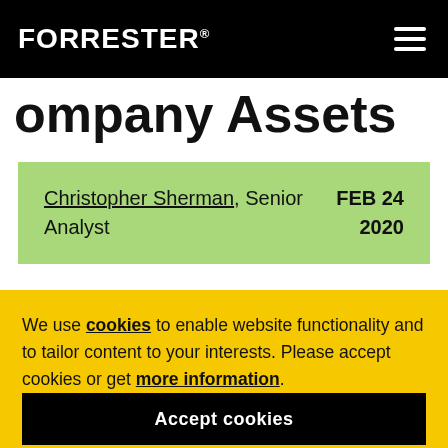FORRESTER®
Company Assets
Christopher Sherman, Senior Analyst   FEB 24 2020
We use cookies to enable website functionality and to tailor content to your interests. Please accept cookies or get more information.
Accept cookies